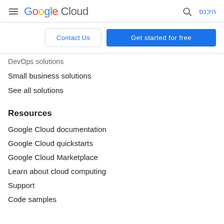Google Cloud — היכנס
DevOps solutions
Small business solutions
See all solutions
Resources
Google Cloud documentation
Google Cloud quickstarts
Google Cloud Marketplace
Learn about cloud computing
Support
Code samples